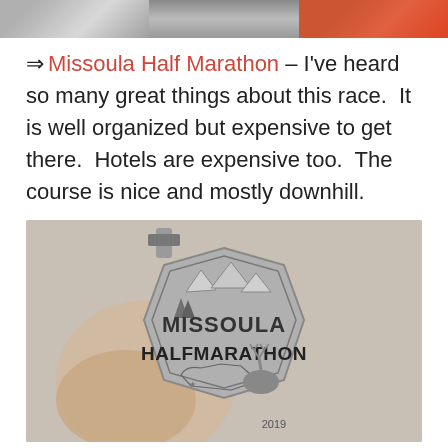[Figure (photo): Strip of three photos at top of page - left shows geometric/abstract image, center shows a dark object, right shows red/orange fabric or clothing]
⇒ Missoula Half Marathon – I've heard so many great things about this race.  It is well organized but expensive to get there.  Hotels are expensive too.  The course is nice and mostly downhill.
[Figure (photo): Photo of a hand holding a silver/metal Missoula Half Marathon medal from 2019, featuring mountains, trees, Montana state outline, a deer/elk silhouette, and the text MISSOULA HALF MARATHON]